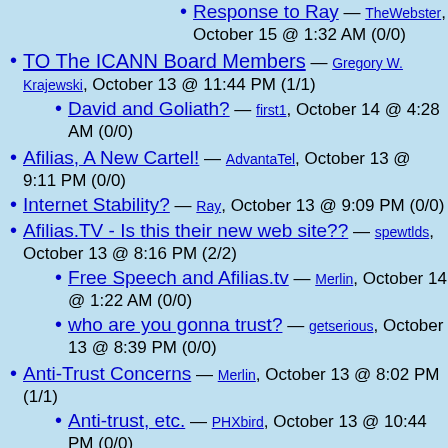Response to Ray — TheWebster, October 15 @ 1:32 AM (0/0)
TO The ICANN Board Members — Gregory W. Krajewski, October 13 @ 11:44 PM (1/1)
David and Goliath? — first1, October 14 @ 4:28 AM (0/0)
Afilias, A New Cartel! — AdvantaTel, October 13 @ 9:11 PM (0/0)
Internet Stability? — Ray, October 13 @ 9:09 PM (0/0)
Afilias.TV - Is this their new web site?? — spewtlds, October 13 @ 8:16 PM (2/2)
Free Speech and Afilias.tv — Merlin, October 14 @ 1:22 AM (0/0)
who are you gonna trust? — getserious, October 13 @ 8:39 PM (0/0)
Anti-Trust Concerns — Merlin, October 13 @ 8:02 PM (1/1)
Anti-trust, etc. — PHXbird, October 13 @ 10:44 PM (0/0)
Ken Stubbs and the Conflict of Interest — Merlin, October 13 @ 7:42 PM (3/6)
GREAT AFTERNIC POST... — pilot, October 14 @ 11:46 AM (2/3)
Possible Prelude to Plan by ICANN — RDM, October 15 @ 9:03 AM (1/1)
Hmmm....... — For The People,